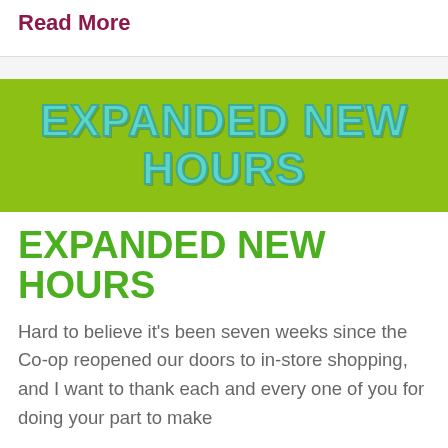Read More
[Figure (illustration): Green banner with teal outlined bold text reading EXPANDED NEW HOURS on a lime green background]
EXPANDED NEW HOURS
Hard to believe it’s been seven weeks since the Co-op reopened our doors to in-store shopping, and I want to thank each and every one of you for doing your part to make